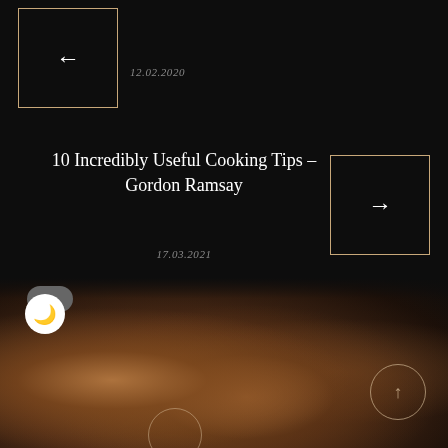[Figure (other): Navigation box with left arrow (previous post) with gold border on dark background]
12.02.2020
10 Incredibly Useful Cooking Tips – Gordon Ramsay
17.03.2021
[Figure (other): Navigation box with right arrow (next post) with gold border on dark background]
[Figure (other): Dark mode toggle switch with moon icon]
Related Posts
[Figure (photo): Hands covered in flour kneading dough on dark background, with circular up-arrow overlays]